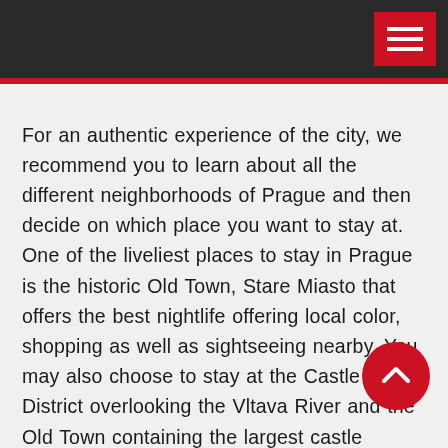For an authentic experience of the city, we recommend you to learn about all the different neighborhoods of Prague and then decide on which place you want to stay at. One of the liveliest places to stay in Prague is the historic Old Town, Stare Miasto that offers the best nightlife offering local color, shopping as well as sightseeing nearby. You may also choose to stay at the Castle District overlooking the Vltava River and the Old Town containing the largest castle complexes, romantic and calm nooks, and crannies. For a traditional flavor of cobbled streets, historical buildings, local restaurants, and beer halls, Mala Strana is the place to stay or you can choose to book Best Hotels in Prague in the youngest New Town (an independent town w old and modern sides of the city meet). This new town is within walking distance from Old Town attractions